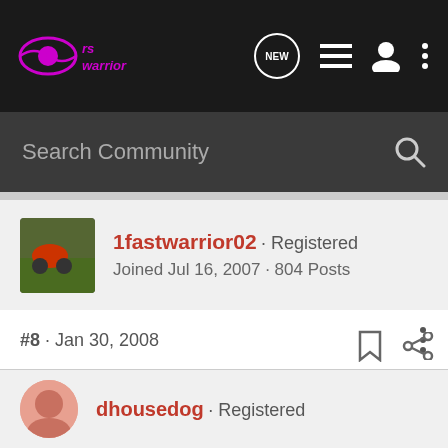RS Warrior community forum header with logo and navigation icons (NEW, list, profile, more)
Search Community
1fastwarrior02 · Registered
Joined Jul 16, 2007 · 804 Posts
#8 · Jan 30, 2008
Nice slide show. Thanks
dhousedog · Registered